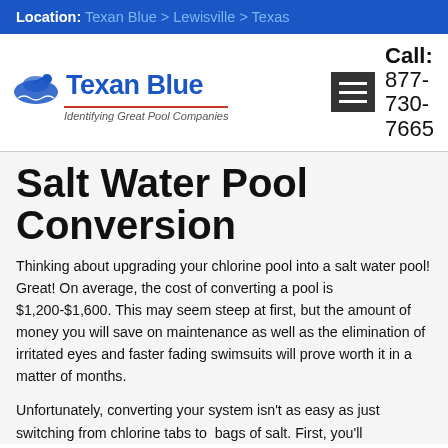Location: Texan Blue > Lewisville > Texas
[Figure (logo): Texan Blue logo with pool swimmer graphic and tagline 'Identifying Great Pool Companies']
Call: 877-730-7665
Salt Water Pool Conversion
Thinking about upgrading your chlorine pool into a salt water pool! Great! On average, the cost of converting a pool is $1,200-$1,600. This may seem steep at first, but the amount of money you will save on maintenance as well as the elimination of irritated eyes and faster fading swimsuits will prove worth it in a matter of months.
Unfortunately, converting your system isn't as easy as just switching from chlorine tabs to bags of salt. First, you'll